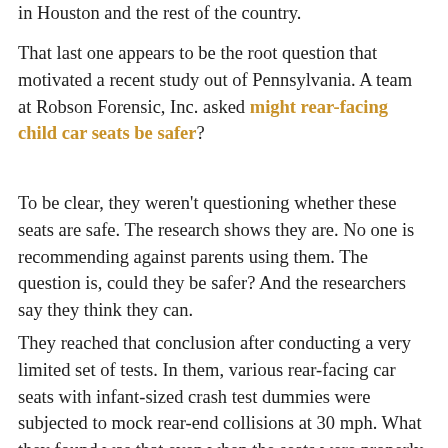in Houston and the rest of the country.
That last one appears to be the root question that motivated a recent study out of Pennsylvania. A team at Robson Forensic, Inc. asked might rear-facing child car seats be safer?
To be clear, they weren't questioning whether these seats are safe. The research shows they are. No one is recommending against parents using them. The question is, could they be safer? And the researchers say they think they can.
They reached that conclusion after conducting a very limited set of tests. In them, various rear-facing car seats with infant-sized crash test dummies were subjected to mock rear-end collisions at 30 mph. What they found was that even when the seats were properly installed, there was a risk that a child could be thrust head-first